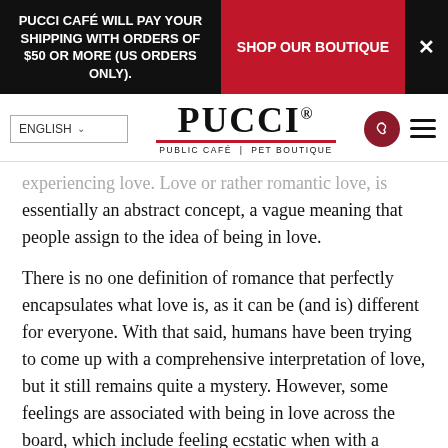PUCCI CAFÉ WILL PAY YOUR SHIPPING WITH ORDERS OF $50 OR MORE (US ORDERS ONLY).
SHOP OUR BOUTIQUE
[Figure (logo): Pucci Public Café | Pet Boutique logo with red underline]
experiencing love. Love or rather romantic love, is essentially an abstract concept, a vague meaning that people assign to the idea of being in love.
There is no one definition of romance that perfectly encapsulates what love is, as it can be (and is) different for everyone. With that said, humans have been trying to come up with a comprehensive interpretation of love, but it still remains quite a mystery. However, some feelings are associated with being in love across the board, which include feeling ecstatic when with a partner, wanting to be with them all the time, wanting to protect them even at our own expense, and feeling strongly affectionate